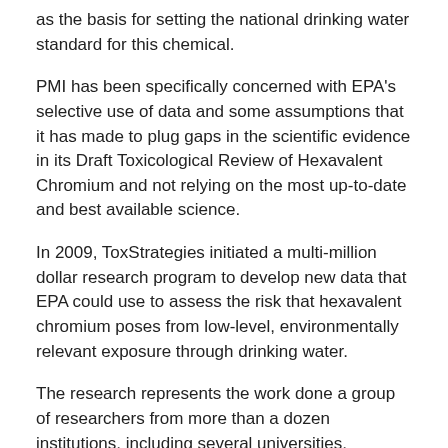as the basis for setting the national drinking water standard for this chemical.
PMI has been specifically concerned with EPA's selective use of data and some assumptions that it has made to plug gaps in the scientific evidence in its Draft Toxicological Review of Hexavalent Chromium and not relying on the most up-to-date and best available science.
In 2009, ToxStrategies initiated a multi-million dollar research program to develop new data that EPA could use to assess the risk that hexavalent chromium poses from low-level, environmentally relevant exposure through drinking water.
The research represents the work done a group of researchers from more than a dozen institutions, including several universities, expands on the 2008 studies conducted by the National Toxicology Program and will help fill in